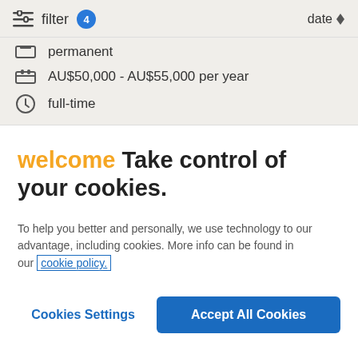filter 4   date
permanent
AU$50,000 - AU$55,000 per year
full-time
welcome Take control of your cookies.
To help you better and personally, we use technology to our advantage, including cookies. More info can be found in our cookie policy.
Cookies Settings   Accept All Cookies